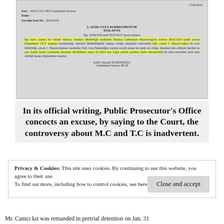[Figure (photo): Scanned Turkish legal document from Malatya Public Prosecutor's Office, dated 17/06/2016, with highlighted text in yellow marker. Document reference Sayı: 2016/1722 CBS Soruşturma Dosyası, addressed to 2. Ağır Ceza Mahkemesi'ne Malatya, signed by Aziz Yaşar Yetkinoğlu, Cumhuriyet Savcısı 38118.]
In its official writing, Public Prosecutor's Office concocts an excuse, by saying to the Court, the controversy about M.C and T.C is inadvertent.
Privacy & Cookies: This site uses cookies. By continuing to use this website, you agree to their use. To find out more, including how to control cookies, see here: Cookie Policy
Mr. Camcı kıt was remanded in pretrial detention on Jan. 31